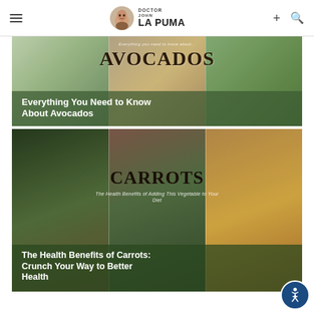Doctor John La Puma — navigation bar with hamburger menu, logo, plus and search icons
[Figure (photo): Avocado themed article card with three-column vegetable photo background showing avocados and green vegetables. Large dark serif text 'AVOCADOS' in center. White bold subtitle text overlay at bottom reading 'Everything You Need to Know About Avocados'.]
[Figure (photo): Carrot themed article card with three-column vegetable photo background showing carrots, herbs and root vegetables. Large dark serif text 'CARROTS' in center with smaller italic text 'The Health Benefits of Adding This Vegetable to Your Diet'. White bold subtitle text overlay at bottom reading 'The Health Benefits of Carrots: Crunch Your Way to Better Health'.]